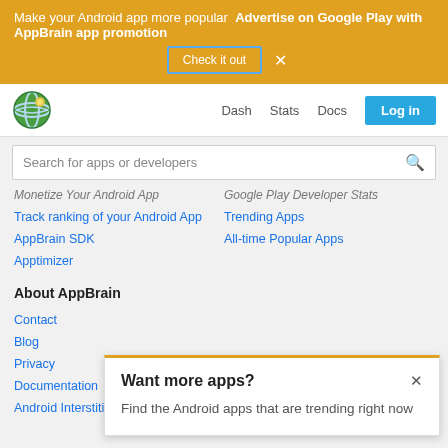Make your Android app more popular  Advertise on Google Play with AppBrain app promotion  [Check it out]  ×
[Figure (logo): AppBrain globe logo]
Dash  Stats  Docs  Log in
Search for apps or developers
Monetize Your Android App
Google Play Developer Stats
Track ranking of your Android App
Trending Apps
AppBrain SDK
All-time Popular Apps
Apptimizer
About AppBrain
Contact
Blog
Privacy
Documentation
Android Interstitial Ads: Best practices to optimize your app's ea…
Want more apps?
Find the Android apps that are trending right now